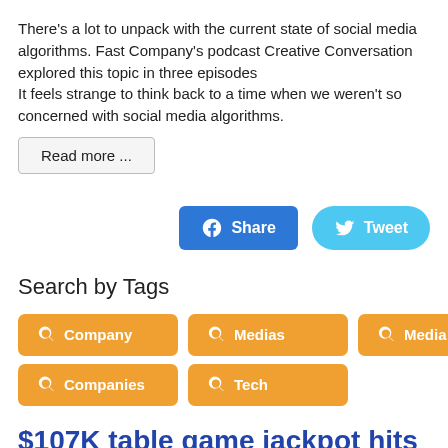There's a lot to unpack with the current state of social media algorithms. Fast Company's podcast Creative Conversation explored this topic in three episodes
It feels strange to think back to a time when we weren't so concerned with social media algorithms.
Read more ...
[Figure (other): Facebook Share button and Twitter Tweet button]
Search by Tags
Company
Medias
Media
Companies
Tech
$107K table game jackpot hits at off-Strip casino